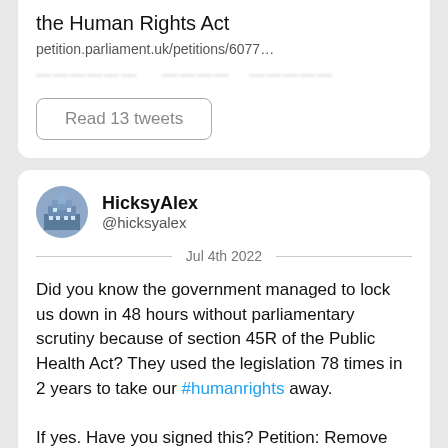the Human Rights Act
petition.parliament.uk/petitions/6077…
Petition Responded ...
Read 13 tweets
HicksyAlex
@hicksyalex
Jul 4th 2022
Did you know the government managed to lock us down in 48 hours without parliamentary scrutiny because of section 45R of the Public Health Act? They used the legislation 78 times in 2 years to take our #humanrights away.
If yes. Have you signed this? Petition: Remove the urgency procedure from the Public Health (Control of Disease) Act1984 petition.parliament.uk/petitions/6184